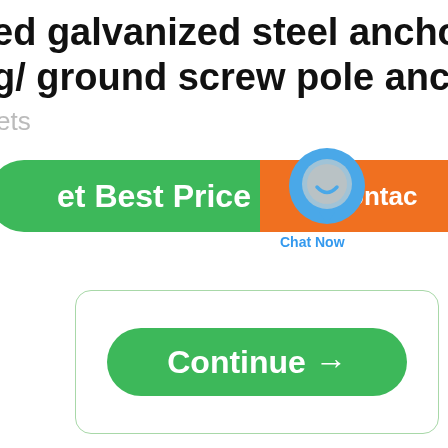ed galvanized steel anchors for g/ ground screw pole anchor
ets
[Figure (screenshot): Green 'Get Best Price' button, orange 'Contact' button with envelope icon, and blue circular 'Chat Now' chat widget overlapping both buttons]
[Figure (screenshot): Green 'Continue →' button inside a rounded rectangle border box]